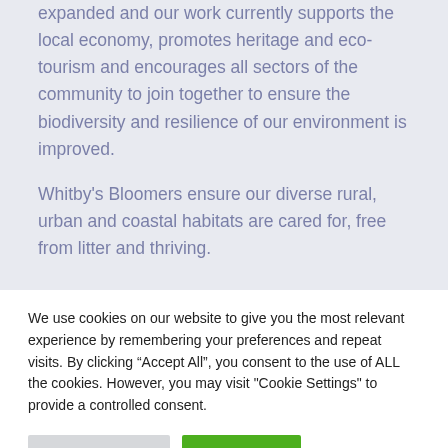expanded and our work currently supports the local economy, promotes heritage and eco-tourism and encourages all sectors of the community to join together to ensure the biodiversity and resilience of our environment is improved.
Whitby's Bloomers ensure our diverse rural, urban and coastal habitats are cared for, free from litter and thriving.
We use cookies on our website to give you the most relevant experience by remembering your preferences and repeat visits. By clicking “Accept All”, you consent to the use of ALL the cookies. However, you may visit "Cookie Settings" to provide a controlled consent.
Cookie Settings | Accept All